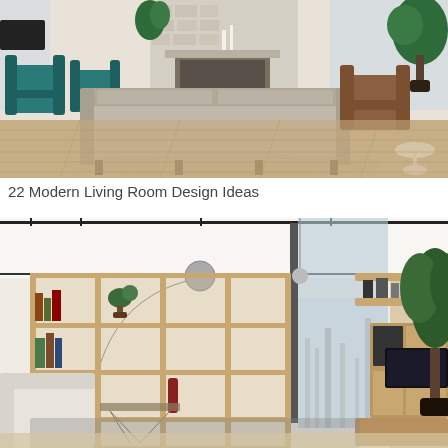[Figure (photo): A modern living room interior with a large grey sofa facing a stone fireplace, teal armchairs on the left, a leather chair and round side table on the right, hardwood floors, and large potted plants.]
22 Modern Living Room Design Ideas
[Figure (photo): A contemporary living room with floor-to-ceiling windows, a large wooden open shelving unit on the left, a white sofa, glass coffee table, wooden TV unit with wall-mounted shelves on the right, a large tree in a black pot, and city views in the background.]